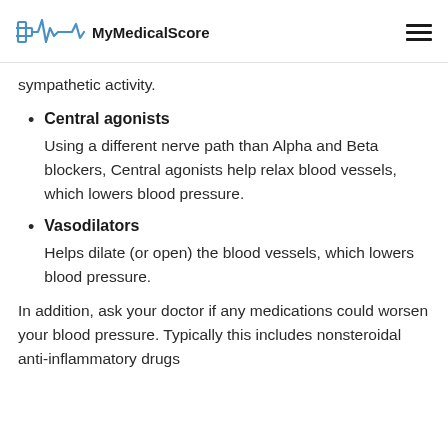MyMedicalScore
sympathetic activity.
Central agonists — Using a different nerve path than Alpha and Beta blockers, Central agonists help relax blood vessels, which lowers blood pressure.
Vasodilators — Helps dilate (or open) the blood vessels, which lowers blood pressure.
In addition, ask your doctor if any medications could worsen your blood pressure. Typically this includes nonsteroidal anti-inflammatory drugs